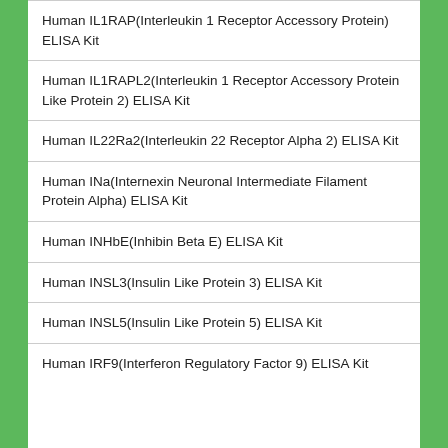Human IL1RAP(Interleukin 1 Receptor Accessory Protein) ELISA Kit
Human IL1RAPL2(Interleukin 1 Receptor Accessory Protein Like Protein 2) ELISA Kit
Human IL22Ra2(Interleukin 22 Receptor Alpha 2) ELISA Kit
Human INa(Internexin Neuronal Intermediate Filament Protein Alpha) ELISA Kit
Human INHbE(Inhibin Beta E) ELISA Kit
Human INSL3(Insulin Like Protein 3) ELISA Kit
Human INSL5(Insulin Like Protein 5) ELISA Kit
Human IRF9(Interferon Regulatory Factor 9) ELISA Kit